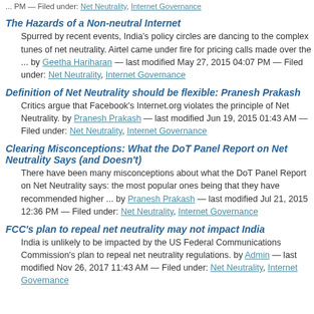... PM — Filed under: Net Neutrality, Internet Governance
The Hazards of a Non-neutral Internet
Spurred by recent events, India's policy circles are dancing to the complex tunes of net neutrality. Airtel came under fire for pricing calls made over the ... by Geetha Hariharan — last modified May 27, 2015 04:07 PM — Filed under: Net Neutrality, Internet Governance
Definition of Net Neutrality should be flexible: Pranesh Prakash
Critics argue that Facebook's Internet.org violates the principle of Net Neutrality. by Pranesh Prakash — last modified Jun 19, 2015 01:43 AM — Filed under: Net Neutrality, Internet Governance
Clearing Misconceptions: What the DoT Panel Report on Net Neutrality Says (and Doesn't)
There have been many misconceptions about what the DoT Panel Report on Net Neutrality says: the most popular ones being that they have recommended higher ... by Pranesh Prakash — last modified Jul 21, 2015 12:36 PM — Filed under: Net Neutrality, Internet Governance
FCC's plan to repeal net neutrality may not impact India
India is unlikely to be impacted by the US Federal Communications Commission's plan to repeal net neutrality regulations. by Admin — last modified Nov 26, 2017 11:43 AM — Filed under: Net Neutrality, Internet Governance